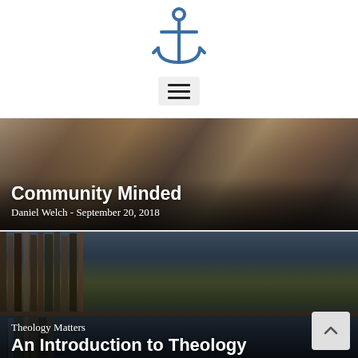[Figure (logo): Anchor icon in blue, used as website logo]
[Figure (other): Hamburger menu button (three horizontal lines)]
[Figure (photo): Photo of people sitting around a table in a social gathering]
Community Minded
Daniel Welch - September 20, 2018
[Figure (photo): Photo of bookshelves filled with books in a library]
Theology Matters
An Introduction to Theology